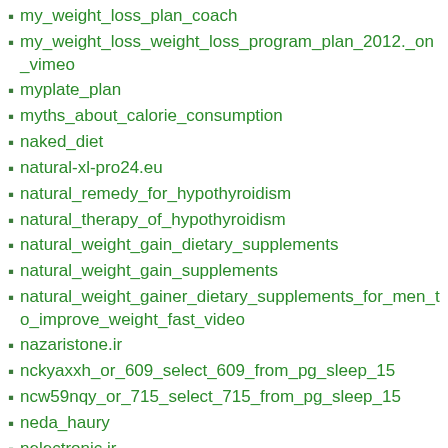my_weight_loss_plan_coach
my_weight_loss_weight_loss_program_plan_2012._on_vimeo
myplate_plan
myths_about_calorie_consumption
naked_diet
natural-xl-pro24.eu
natural_remedy_for_hypothyroidism
natural_therapy_of_hypothyroidism
natural_weight_gain_dietary_supplements
natural_weight_gain_supplements
natural_weight_gainer_dietary_supplements_for_men_to_improve_weight_fast_video
nazaristone.ir
nckyaxxh_or_609_select_609_from_pg_sleep_15
ncw59nqy_or_715_select_715_from_pg_sleep_15
neda_haury
nelectronic.ir
network-surveys
new_apple_ingredient_discovery_keeps_muscle_group_strong_by_michael_clents